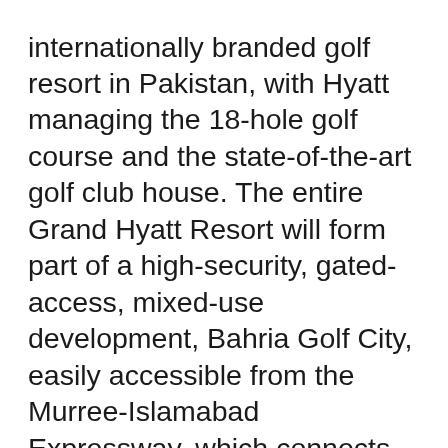internationally branded golf resort in Pakistan, with Hyatt managing the 18-hole golf course and the state-of-the-art golf club house. The entire Grand Hyatt Resort will form part of a high-security, gated-access, mixed-use development, Bahria Golf City, easily accessible from the Murree-Islamabad Expressway, which connects directly to Islamabad's city center and diplomatic area 30 minutes away. Beame Architectural Partnership, Florida, a recognised design award-winning firm has designed the hotel while Wilsons responsible for Dubai Atlantis have done the interior. Construction of the hotel is well underway.
Hyatt Residency Lahore is a stylish 220-room